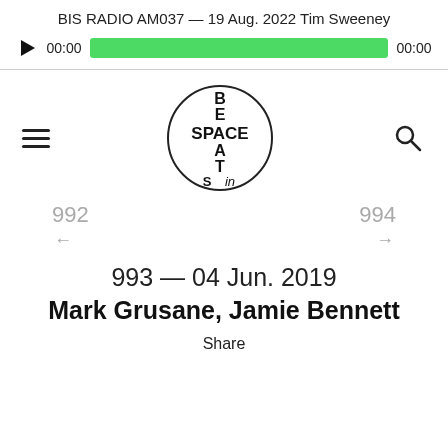BIS RADIO AM037 — 19 Aug. 2022 Tim Sweeney
[Figure (screenshot): Audio player bar with play button, time display (00:00), green progress bar (fully filled), and end time (00:00)]
[Figure (logo): Beats In Space circular logo with B, SPACE, E, A, T, S, in text arranged in a crossword-style layout inside a circle]
992
994
←
→
993 — 04 Jun. 2019
Mark Grusane, Jamie Bennett
Share